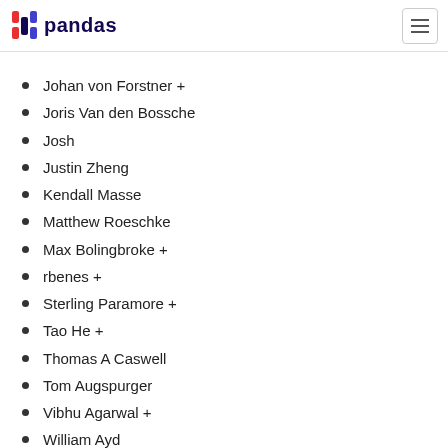pandas
Johan von Forstner +
Joris Van den Bossche
Josh
Justin Zheng
Kendall Masse
Matthew Roeschke
Max Bolingbroke +
rbenes +
Sterling Paramore +
Tao He +
Thomas A Caswell
Tom Augspurger
Vibhu Agarwal +
William Ayd
Zach Angell